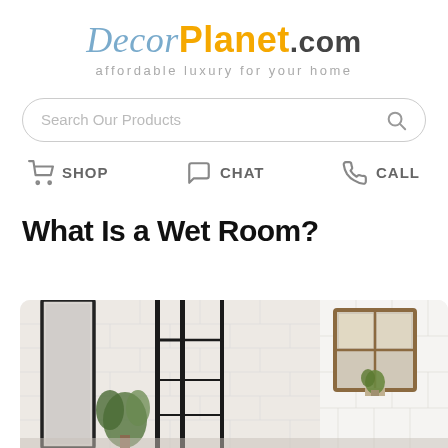[Figure (logo): DecorPlanet.com logo with tagline 'affordable luxury for your home']
Search Our Products
SHOP  CHAT  CALL
What Is a Wet Room?
[Figure (photo): A modern white brick wet room bathroom with black framed glass shower partition, tall mirror, green plants, and a small potted plant on a windowsill]